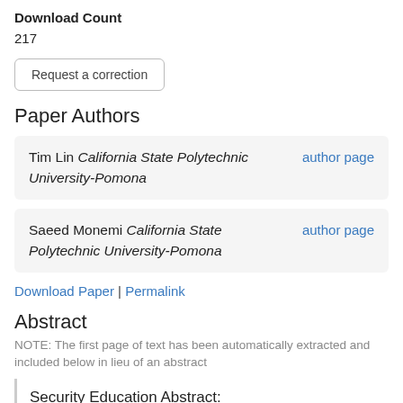Download Count
217
Request a correction
Paper Authors
Tim Lin California State Polytechnic University-Pomona  author page
Saeed Monemi California State Polytechnic University-Pomona  author page
Download Paper | Permalink
Abstract
NOTE: The first page of text has been automatically extracted and included below in lieu of an abstract
Security Education Abstract:
Network security and computer security are